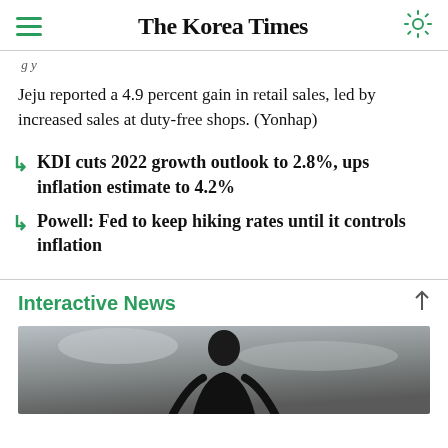The Korea Times
Jeju reported a 4.9 percent gain in retail sales, led by increased sales at duty-free shops. (Yonhap)
KDI cuts 2022 growth outlook to 2.8%, ups inflation estimate to 4.2%
Powell: Fed to keep hiking rates until it controls inflation
Interactive News
[Figure (photo): Photo of a person (athlete or public figure) against a cloudy sky background]